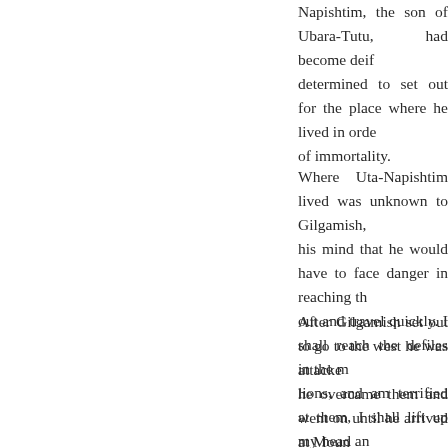Napishtim, the son of Ubara-Tutu, had become deified, he determined to set out for the place where he lived in order to learn of immortality.
Where Uta-Napishtim lived was unknown to Gilgamish, but he made up his mind that he would have to face danger in reaching there, so he set out and travel quickly. I shall reach the defiles in the mountains, and see lions, and am terrified at them, I shall lift up my head and pray to (Ishtar, the Lady of the Gods), who is wont to hearken t
After Gilgamish set out to go to the west he was attacked by lions, he overcame them and went on until he arrived at Moun the sun was thought both to rise and to set.
The approach to this mountain was guarded by Scorpie terrible that the mere sight of it was sufficient to kill the the mountains collapsed under the glance of their eyes.
When Gilgamish saw the Scorpion-men he was smit influence of his terror the colour of his face changed, and h